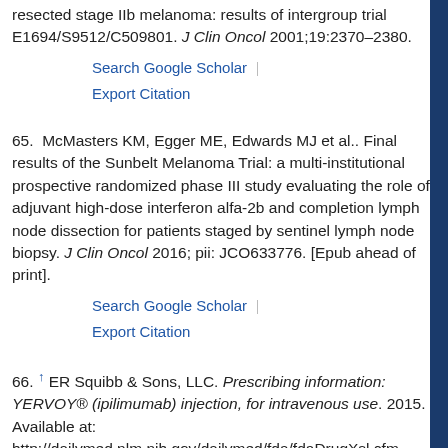resected stage IIb melanoma: results of intergroup trial E1694/S9512/C509801. J Clin Oncol 2001;19:2370–2380.
Search Google Scholar | Export Citation
65. McMasters KM, Egger ME, Edwards MJ et al.. Final results of the Sunbelt Melanoma Trial: a multi-institutional prospective randomized phase III study evaluating the role of adjuvant high-dose interferon alfa-2b and completion lymph node dissection for patients staged by sentinel lymph node biopsy. J Clin Oncol 2016; pii: JCO633776. [Epub ahead of print].
Search Google Scholar | Export Citation
66. ↑ ER Squibb & Sons, LLC. Prescribing information: YERVOY® (ipilimumab) injection, for intravenous use. 2015. Available at: http://dailymed.nlm.nih.gov/dailymed/fda/fdaDrugXsl.cfm setid=2265ef30-253e-11df-8a39-